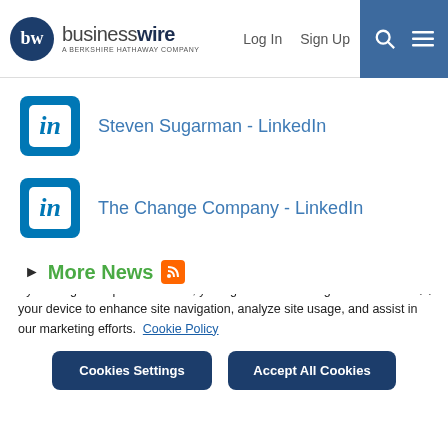businesswire - A Berkshire Hathaway Company | Log In | Sign Up
Steven Sugarman - LinkedIn
The Change Company - LinkedIn
More News
By clicking “Accept All Cookies”, you agree to the storing of cookies on your device to enhance site navigation, analyze site usage, and assist in our marketing efforts. Cookie Policy
Cookies Settings | Accept All Cookies